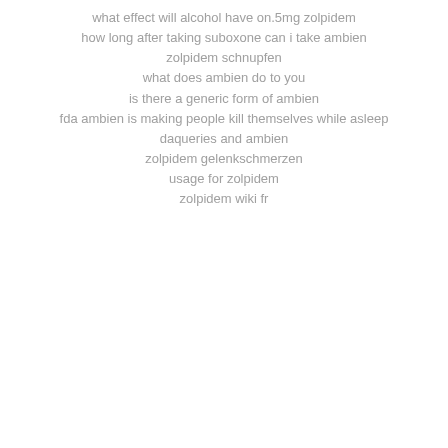what effect will alcohol have on.5mg zolpidem
how long after taking suboxone can i take ambien
zolpidem schnupfen
what does ambien do to you
is there a generic form of ambien
fda ambien is making people kill themselves while asleep
daqueries and ambien
zolpidem gelenkschmerzen
usage for zolpidem
zolpidem wiki fr